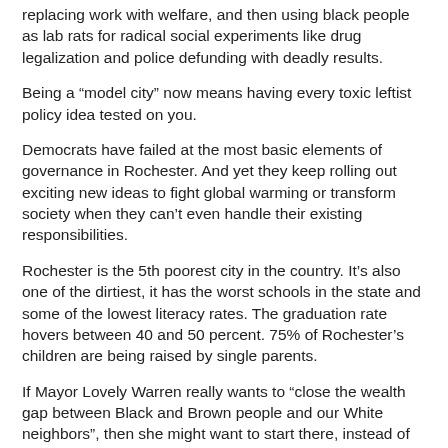replacing work with welfare, and then using black people as lab rats for radical social experiments like drug legalization and police defunding with deadly results.
Being a “model city” now means having every toxic leftist policy idea tested on you.
Democrats have failed at the most basic elements of governance in Rochester. And yet they keep rolling out exciting new ideas to fight global warming or transform society when they can’t even handle their existing responsibilities.
Rochester is the 5th poorest city in the country. It’s also one of the dirtiest, it has the worst schools in the state and some of the lowest literacy rates. The graduation rate hovers between 40 and 50 percent. 75% of Rochester’s children are being raised by single parents.
If Mayor Lovely Warren really wants to “close the wealth gap between Black and Brown people and our White neighbors”, then she might want to start there, instead of writing checks